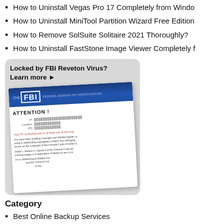How to Uninstall Vegas Pro 17 Completely from Windows
How to Uninstall MiniTool Partition Wizard Free Edition
How to Remove SolSuite Solitaire 2021 Thoroughly?
How to Uninstall FastStone Image Viewer Completely f
[Figure (screenshot): A box with dotted/grey background showing 'Locked by FBI Reveton Virus? Learn more ►' text, with a screenshot of an FBI ransomware page showing ATTENTION! message with IP, Location, IPS fields and warning text about PC being blocked.]
Category
Best Online Backup Services